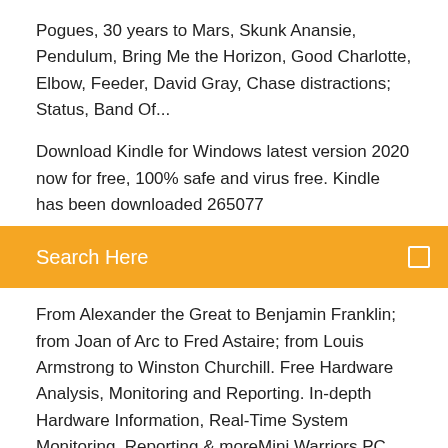Pogues, 30 years to Mars, Skunk Anansie, Pendulum, Bring Me the Horizon, Good Charlotte, Elbow, Feeder, David Gray, Chase distractions; Status, Band Of...
Download Kindle for Windows latest version 2020 now for free, 100% safe and virus free. Kindle has been downloaded 265077
Search Here
From Alexander the Great to Benjamin Franklin; from Joan of Arc to Fred Astaire; from Louis Armstrong to Winston Churchill. Free Hardware Analysis, Monitoring and Reporting. In-depth Hardware Information, Real-Time System Monitoring, Reporting & moreMini Warriors PC Version | #1 Best Free Multiplayer Game...https://games.lol/mini-warriorsPlay Mini Warriors Desktop download free on PC! This is an immersive action-adventure online strategy game! Experience the unique combination of strategy and RPG under a single title! Free pobierz five nights at fredy s download software at UpdateStar